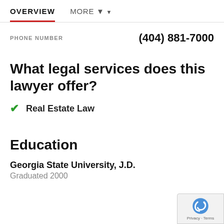OVERVIEW  MORE ▼
PHONE NUMBER   (404) 881-7000
What legal services does this lawyer offer?
✓ Real Estate Law
Education
Georgia State University, J.D.
Graduated 2000